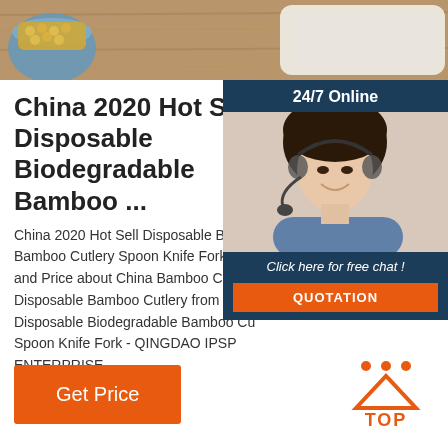[Figure (photo): Product photo showing a wooden surface with a blue bowl of food items (likely nuts or corn), a white tray/plate, and bamboo cutlery items in the background]
China 2020 Hot Sell Disposable Biodegradable Bamboo ...
[Figure (photo): Customer service chat widget showing a woman wearing a headset, with '24/7 Online' header, 'Click here for free chat!' text, and a QUOTATION button]
China 2020 Hot Sell Disposable Biodegradable Bamboo Cutlery Spoon Knife Fork, Find details and Price about China Bamboo Cutlery, Disposable Bamboo Cutlery from 2020 Hot Sell Disposable Biodegradable Bamboo Cutlery Spoon Knife Fork - QINGDAO IPSP ENTERPRISE
[Figure (other): Get Price orange button]
[Figure (other): Top navigation icon with orange dots and TOP text]